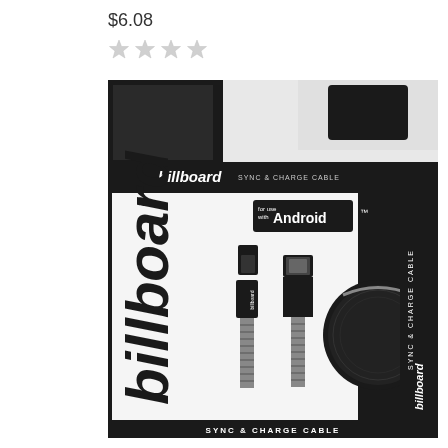$6.08
[Figure (photo): Billboard Sync & Charge Cable product package for Android. Black and white packaging showing a micro-USB cable with braided pattern, USB connector, and a round black carrying case. Billboard logo prominent on the package. Text reads 'for use with Android' and 'SYNC & CHARGE CABLE'.]
SYNC & CHARGE CABLE